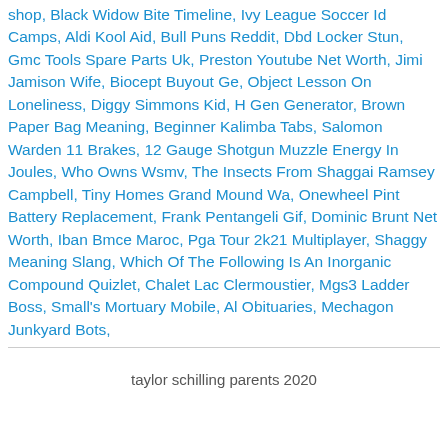shop, Black Widow Bite Timeline, Ivy League Soccer Id Camps, Aldi Kool Aid, Bull Puns Reddit, Dbd Locker Stun, Gmc Tools Spare Parts Uk, Preston Youtube Net Worth, Jimi Jamison Wife, Biocept Buyout Ge, Object Lesson On Loneliness, Diggy Simmons Kid, H Gen Generator, Brown Paper Bag Meaning, Beginner Kalimba Tabs, Salomon Warden 11 Brakes, 12 Gauge Shotgun Muzzle Energy In Joules, Who Owns Wsmv, The Insects From Shaggai Ramsey Campbell, Tiny Homes Grand Mound Wa, Onewheel Pint Battery Replacement, Frank Pentangeli Gif, Dominic Brunt Net Worth, Iban Bmce Maroc, Pga Tour 2k21 Multiplayer, Shaggy Meaning Slang, Which Of The Following Is An Inorganic Compound Quizlet, Chalet Lac Clermoustier, Mgs3 Ladder Boss, Small's Mortuary Mobile, Al Obituaries, Mechagon Junkyard Bots,
taylor schilling parents 2020